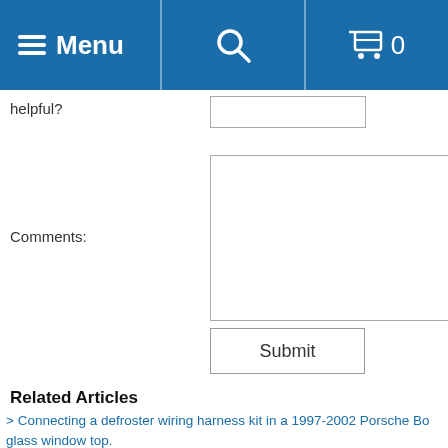Menu  [search icon]  [cart icon] 0
helpful?
Comments:
Submit
Related Articles
> Connecting a defroster wiring harness kit in a 1997-2002 Porsche Boxster glass window top.
> How to find an authorized professional installer for your new conver...
> How well does the 1997-2002 Porsche Boxster glass window upgrade... top boot.
> Design changes for 1990-1994 Mercedes SL Convertible Tops
> Mazda Miata MX5 1989-1997 elastic straps installation
> Care of your convertible top